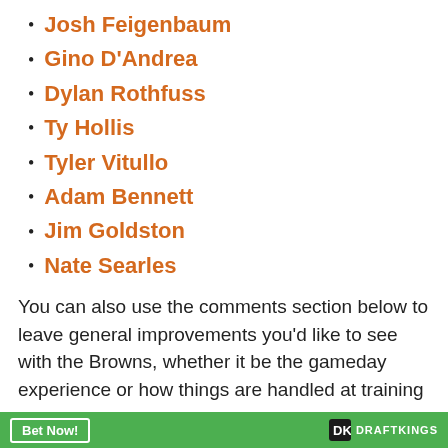Josh Feigenbaum
Gino D'Andrea
Dylan Rothfuss
Ty Hollis
Tyler Vitullo
Adam Bennett
Jim Goldston
Nate Searles
You can also use the comments section below to leave general improvements you'd like to see with the Browns, whether it be the gameday experience or how things are handled at training camp
Bet Now! DRAFTKINGS